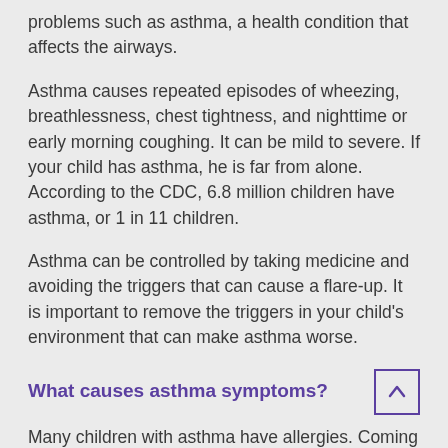problems such as asthma, a health condition that affects the airways.
Asthma causes repeated episodes of wheezing, breathlessness, chest tightness, and nighttime or early morning coughing. It can be mild to severe. If your child has asthma, he is far from alone. According to the CDC, 6.8 million children have asthma, or 1 in 11 children.
Asthma can be controlled by taking medicine and avoiding the triggers that can cause a flare-up. It is important to remove the triggers in your child's environment that can make asthma worse.
What causes asthma symptoms?
Many children with asthma have allergies. Coming into contact with an allergen can set off asthma symptoms.